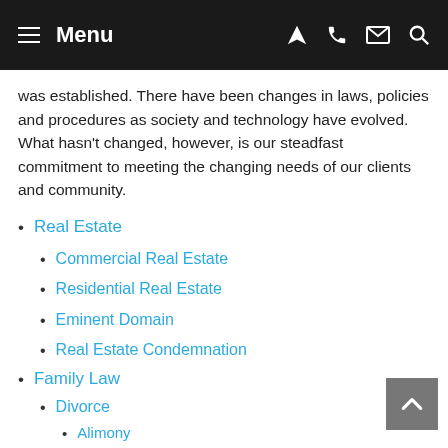Menu
was established. There have been changes in laws, policies and procedures as society and technology have evolved. What hasn’t changed, however, is our steadfast commitment to meeting the changing needs of our clients and community.
Real Estate
Commercial Real Estate
Residential Real Estate
Eminent Domain
Real Estate Condemnation
Family Law
Divorce
Alimony
Property Settlement Agreements